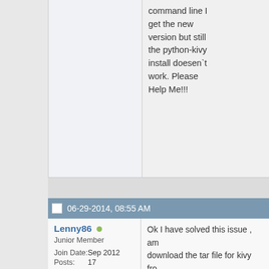command line I get the new version but still the python-kivy install doesen`t work. Please Help Me!!!
06-29-2014, 08:55 AM
Lenny86 (online)
Junior Member
Join Date: Sep 2012
Posts: 17
Ok I have solved this issue , am download the tar file for kivy fro add

deb-src http://ftp.de.debian.org/
deb-src http://ftp.de.debian.org/
deb-src http://ftp.de.debian.org/ free
deb-src http://ftp.de.debian.org/ non-free

this to the source.list in /etc/apt

make a sudo apt-get update

after that:

sudo apt-get -t testing install py...